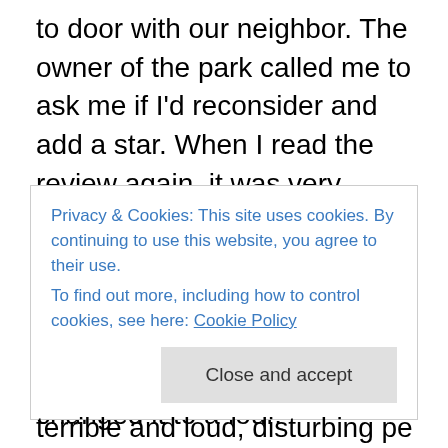to door with our neighbor. The owner of the park called me to ask me if I'd reconsider and add a star. When I read the review again, it was very positive, except for the stars. Can I blame them for the pain in the ass drive back to the world? I guess not, it was our choice to stay there. So, I changed it to a four.
The site? Yes. That's on them. However, in hindsight, I'd take an extra half star off the site, despite the view of the sunsets. Our slide almost touched the guy on our driver side, so close we heard his wife laugh at Stephen Colbert
Privacy & Cookies: This site uses cookies. By continuing to use this website, you agree to their use.
To find out more, including how to control cookies, see here: Cookie Policy
terrible and loud, disturbing peaceful nights. So, three